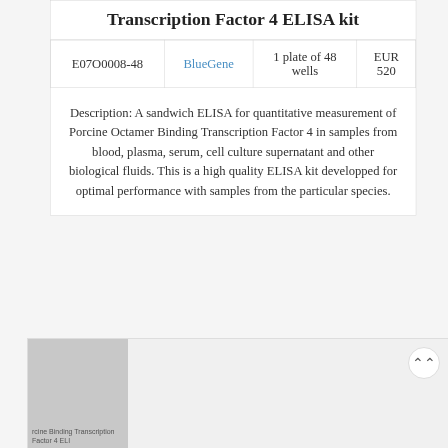Transcription Factor 4 ELISA kit
|  |  |  |  |
| --- | --- | --- | --- |
| E07O0008-48 | BlueGene | 1 plate of 48 wells | EUR 520 |
Description: A sandwich ELISA for quantitative measurement of Porcine Octamer Binding Transcription Factor 4 in samples from blood, plasma, serum, cell culture supernatant and other biological fluids. This is a high quality ELISA kit developped for optimal performance with samples from the particular species.
[Figure (photo): Thumbnail image of Porcine Octamer Binding Transcription Factor 4 ELISA kit product, shown in gray placeholder with partial text label visible.]